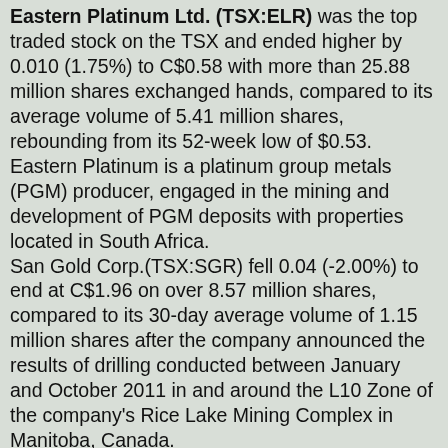Eastern Platinum Ltd. (TSX:ELR) was the top traded stock on the TSX and ended higher by 0.010 (1.75%) to C$0.58 with more than 25.88 million shares exchanged hands, compared to its average volume of 5.41 million shares, rebounding from its 52-week low of $0.53. Eastern Platinum is a platinum group metals (PGM) producer, engaged in the mining and development of PGM deposits with properties located in South Africa. San Gold Corp.(TSX:SGR) fell 0.04 (-2.00%) to end at C$1.96 on over 8.57 million shares, compared to its 30-day average volume of 1.15 million shares after the company announced the results of drilling conducted between January and October 2011 in and around the L10 Zone of the company's Rice Lake Mining Complex in Manitoba, Canada. Bombardier, Inc. (TSX:BBD.B) shares climbed 0.20 (5.29%) to finish at C$3.98 on over 8.21 million shares, compared to its average volume of 7.75 million as Embraer SA and Bombardier Inc., the world's fourth- and third-biggest airplane makers respectively, see little effect from possible jet returns by AMR Corp. (AMR), which sought court protection from creditors this week, top executives from the planemakers said. Gildan Activewear Inc. (TSX:GIL) shares slumped 7.08...